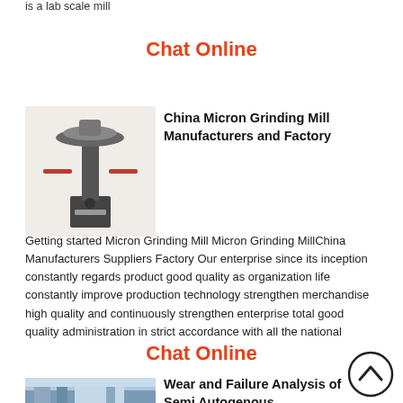is a lab scale mill
Chat Online
[Figure (photo): Industrial micron grinding mill machine, tall cylindrical tower structure with mechanical components]
China Micron Grinding Mill Manufacturers and Factory
Getting started Micron Grinding Mill Micron Grinding MillChina Manufacturers Suppliers Factory Our enterprise since its inception constantly regards product good quality as organization life constantly improve production technology strengthen merchandise high quality and continuously strengthen enterprise total good quality administration in strict accordance with all the national
Chat Online
[Figure (photo): Industrial plant or factory exterior with blue sky]
Wear and Failure Analysis of Semi Autogenous